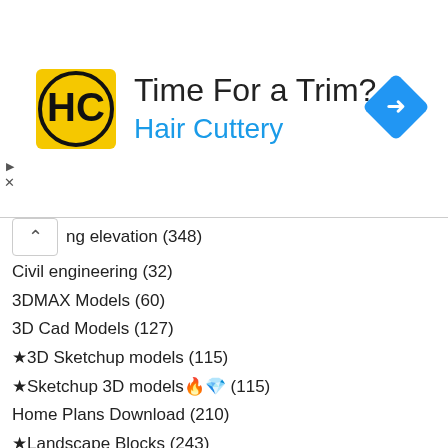[Figure (other): Hair Cuttery advertisement banner with logo, 'Time For a Trim?' heading, blue 'Hair Cuttery' subtitle, and a blue diamond navigation icon on the right]
ng elevation (348)
Civil engineering (32)
3DMAX Models (60)
3D Cad Models (127)
★3D Sketchup models (115)
★Sketchup 3D models🔥💎 (115)
Home Plans Download (210)
★Landscape Blocks (243)
--Gates and Fences (114)
--Wrought iron (102)
★Landscape Design Drawings🔥💎 (510)
--Residential Landscape (295)
--Urban City Design (241)
--Square Design (257)
★Stage Lighting,Stage,Sound system,Auditorium Cinema Theaters (61)